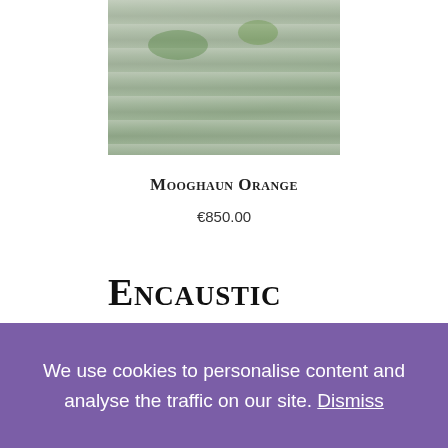[Figure (photo): Partial product image showing textured stone or tree bark surface with green moss/lichen accents in grey and green tones]
Mooghaun Orange
€850.00
Encaustic
Showing all 4 results
Sort by price: high to low
[Figure (photo): Two cropped product thumbnail images showing blue swirled encaustic artwork]
We use cookies to personalise content and analyse the traffic on our site. Dismiss